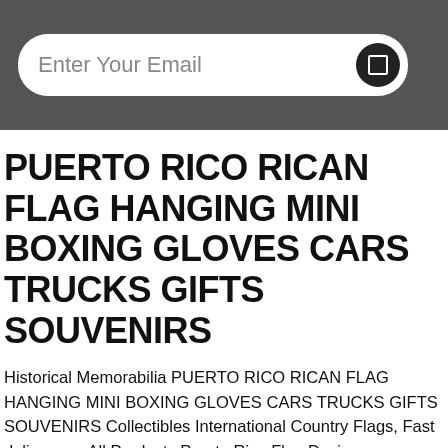Enter Your Email
PUERTO RICO RICAN FLAG HANGING MINI BOXING GLOVES CARS TRUCKS GIFTS SOUVENIRS
Historical Memorabilia PUERTO RICO RICAN FLAG HANGING MINI BOXING GLOVES CARS TRUCKS GIFTS SOUVENIRS Collectibles International Country Flags, Fast delivery on All Products Puerto Rico Flag Design MATERIAL: VINYL The Contemporary Fashion Site,Big Labels Small Prices. COLOR: RED Boxing Gloves BLUE AND WHITE, Find the latest styles in great brands. Online promotion PUERTO RICO RICAN FLAG HANGING MINI BOXING GLOVES CARS TRUCKS GIFTS SOUVENIRS, PUERTO RICO RICAN FLAG HANGING MINI BOXING GLOVES CARS TRUCKS GIFTS SOUVENIRS Shop Newest Fashion & Lifestyle Online. Cheap Bargain.